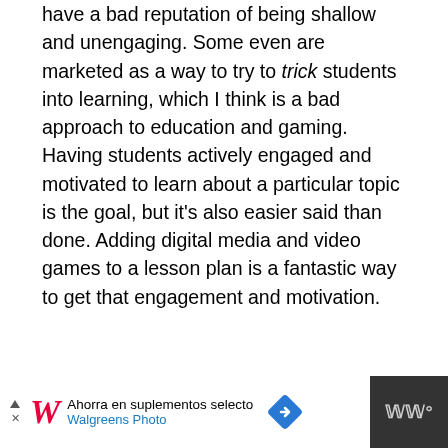have a bad reputation of being shallow and unengaging. Some even are marketed as a way to try to trick students into learning, which I think is a bad approach to education and gaming. Having students actively engaged and motivated to learn about a particular topic is the goal, but it's also easier said than done. Adding digital media and video games to a lesson plan is a fantastic way to get that engagement and motivation.
[Figure (other): Advertisement banner: Walgreens Photo — Ahorra en suplementos selecto (text truncated), with Walgreens italic logo in red, a blue navigation arrow diamond icon, and a dark WW logo on the right.]